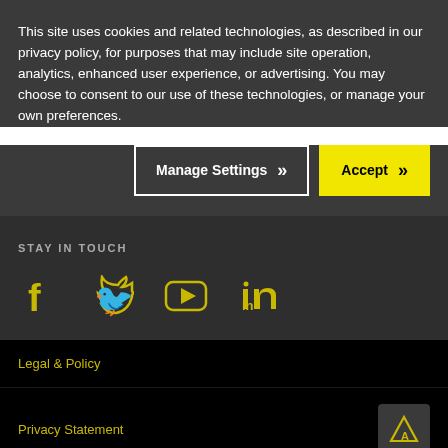This site uses cookies and related technologies, as described in our privacy policy, for purposes that may include site operation, analytics, enhanced user experience, or advertising. You may choose to consent to our use of these technologies, or manage your own preferences.
[Figure (screenshot): Manage Settings button with double chevron and Accept button with double chevron on yellow background]
STAY IN TOUCH
[Figure (illustration): Social media icons: Facebook, Twitter, YouTube, LinkedIn in yellow/olive color]
Legal & Policy
Privacy Statement
Anti Modern Slavery Policy
[Figure (logo): Dark grey square badge with yellow triangle/arrow logo]